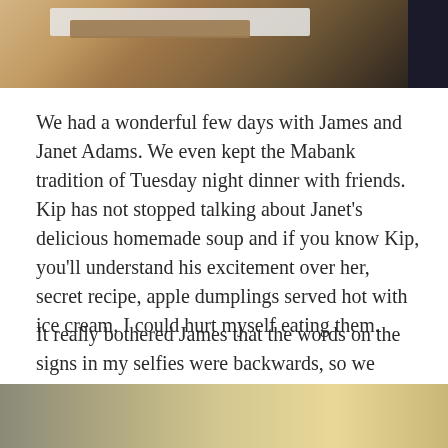[Figure (photo): Top portion of a photo showing a wooden surface with a white metal bracket or sign holder, and a dark object on the right side.]
We had a wonderful few days with James and Janet Adams. We even kept the Mabank tradition of Tuesday night dinner with friends. Kip has not stopped talking about Janet's delicious homemade soup and if you know Kip, you'll understand his excitement over her, secret recipe, apple dumplings served hot with ice cream. I could hurt myself eating them.
It really bothered James that the words on the signs in my selfies were backwards, so we spent a little time practicing on his sweatshirt. (We finally got it fixed at the parade.)
[Figure (photo): Bottom portion showing a gradient background from olive/khaki to golden tan colors.]